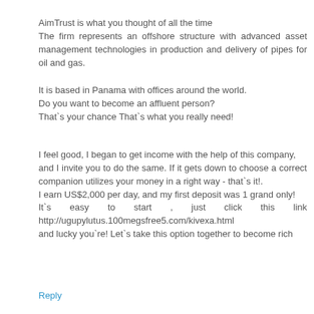AimTrust is what you thought of all the time
The firm represents an offshore structure with advanced asset management technologies in production and delivery of pipes for oil and gas.
It is based in Panama with offices around the world.
Do you want to become an affluent person?
That`s your chance That`s what you really need!
I feel good, I began to get income with the help of this company,
and I invite you to do the same. If it gets down to choose a correct companion utilizes your money in a right way - that`s it!.
I earn US$2,000 per day, and my first deposit was 1 grand only!
It`s easy to start , just click this link http://ugupylutus.100megsfree5.com/kivexa.html
and lucky you`re! Let`s take this option together to become rich
Reply